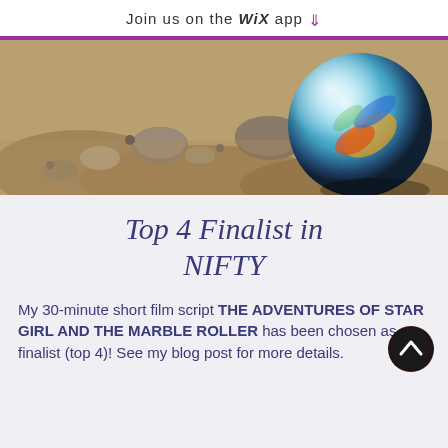Join us on the WiX app ↓
[Figure (photo): Close-up photo of rocky sandy ground with a large glass marble/ball on the right side showing colorful reflections of blue, yellow, orange inside it.]
Top 4 Finalist in NIFTY
My 30-minute short film script THE ADVENTURES OF STAR GIRL AND THE MARBLE ROLLER has been chosen as a finalist (top 4)! See my blog post for more details.